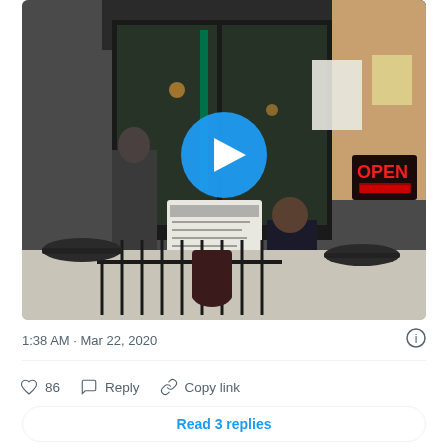[Figure (photo): Video thumbnail of a person outside a coffee shop/restaurant with outdoor seating (black iron tables and chairs), a whiteboard sign near the entrance, a Starbucks logo visible, and an OPEN neon sign. A blue play button circle is overlaid in the center.]
1:38 AM · Mar 22, 2020
♡ 86   Reply   Copy link
Read 3 replies